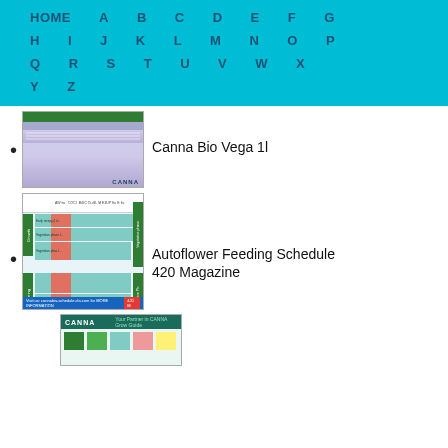HOME A B C D E F G H I J K L M N O P Q R S T U V W X Y Z
Canna Bio Vega 1l
Autoflower Feeding Schedule 420 Magazine
[Figure (screenshot): Thumbnail of Canna Bio Vega 1l product page]
[Figure (screenshot): Thumbnail of Autoflower Feeding Schedule table]
[Figure (screenshot): Thumbnail of CANNA grow guide page]